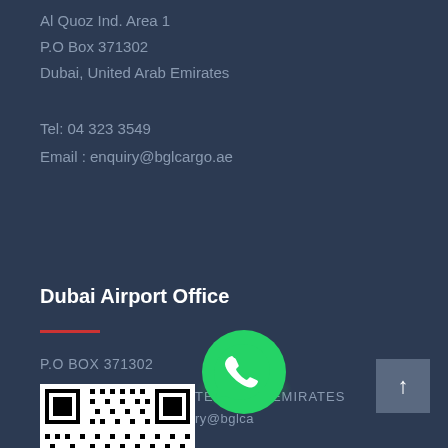Al Quoz Ind. Area 1
P.O Box 371302
Dubai, United Arab Emirates
Tel: 04 323 3549
Email : enquiry@bglcargo.ae
Dubai Airport Office
P.O BOX 371302
UNITED ARAB EMIRATES
enquiry@bglca
[Figure (other): QR code for BGL Cargo]
[Figure (other): WhatsApp icon with green glow]
[Figure (other): Scroll to top button with upward arrow]